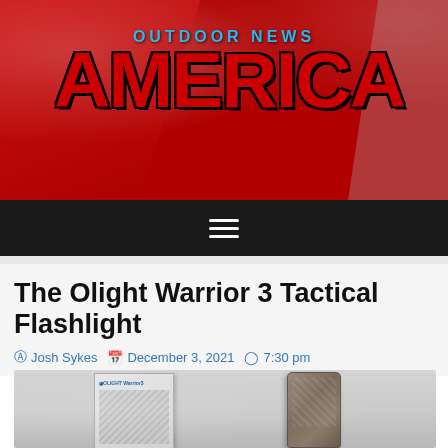[Figure (logo): Outdoor News America logo banner with red background, 'OUTDOOR NEWS' in blue text above large red 'AMERICA' text with black outline]
[Figure (other): Black navigation bar with hamburger menu icon (three horizontal lines)]
The Olight Warrior 3 Tactical Flashlight
Josh Sykes   December 3, 2021   7:30 pm
[Figure (photo): Photo of Olight Warrior 3 tactical flashlight product with packaging box showing camouflage pattern flashlight]